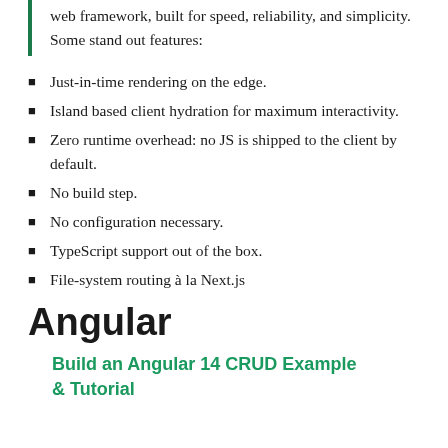web framework, built for speed, reliability, and simplicity. Some stand out features:
Just-in-time rendering on the edge.
Island based client hydration for maximum interactivity.
Zero runtime overhead: no JS is shipped to the client by default.
No build step.
No configuration necessary.
TypeScript support out of the box.
File-system routing à la Next.js
Angular
Build an Angular 14 CRUD Example & Tutorial